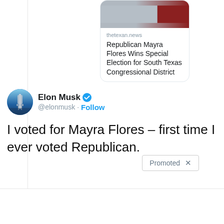[Figure (screenshot): News article card showing headline: 'Republican Mayra Flores Wins Special Election for South Texas Congressional District' from thetexan.news, with a partially visible image at top]
thetexan.news
Republican Mayra Flores Wins Special Election for South Texas Congressional District
Elon Musk @elonmusk · Follow
I voted for Mayra Flores – first time I ever voted Republican.
Promoted